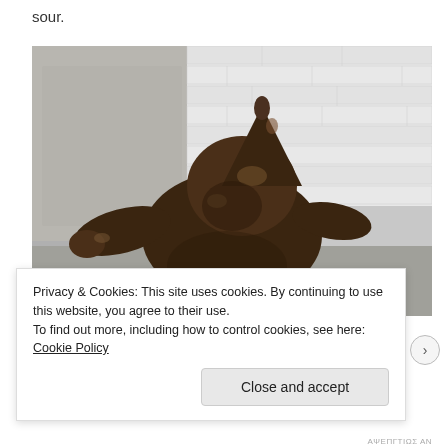sour.
[Figure (photo): Bronze gnome statue photographed from above against a granite wall and brick wall background. The small dark bronze gnome figure has a pointed hat and is reaching forward with one arm.]
Privacy & Cookies: This site uses cookies. By continuing to use this website, you agree to their use.
To find out more, including how to control cookies, see here: Cookie Policy
Close and accept